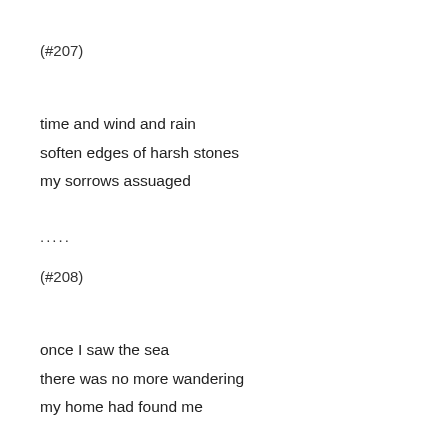(#207)
time and wind and rain
soften edges of harsh stones
my sorrows assuaged
.....
(#208)
once I saw the sea
there was no more wandering
my home had found me